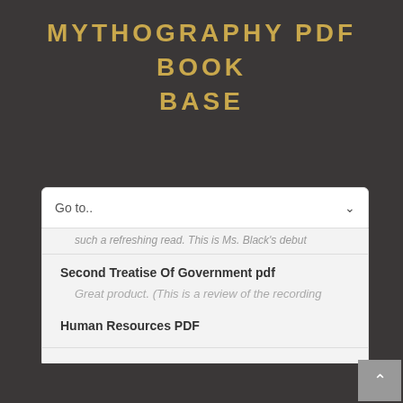MYTHOGRAPHY PDF BOOK BASE
Go to..
such a refreshing read. This is Ms. Black's debut
Second Treatise Of Government pdf
Great product. (This is a review of the recording
Human Resources PDF